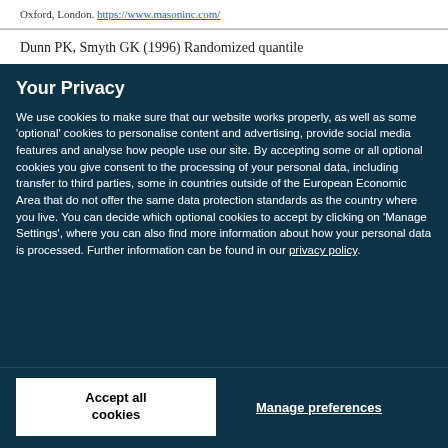Oxford, London. https://www.masoninc.com/
Dunn PK, Smyth GK (1996) Randomized quantile
Your Privacy
We use cookies to make sure that our website works properly, as well as some 'optional' cookies to personalise content and advertising, provide social media features and analyse how people use our site. By accepting some or all optional cookies you give consent to the processing of your personal data, including transfer to third parties, some in countries outside of the European Economic Area that do not offer the same data protection standards as the country where you live. You can decide which optional cookies to accept by clicking on 'Manage Settings', where you can also find more information about how your personal data is processed. Further information can be found in our privacy policy.
Accept all cookies
Manage preferences